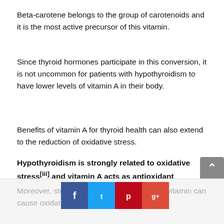Beta-carotene belongs to the group of carotenoids and it is the most active precursor of this vitamin.
Since thyroid hormones participate in this conversion, it is not uncommon for patients with hypothyroidism to have lower levels of vitamin A in their body.
Benefits of vitamin A for thyroid health can also extend to the reduction of oxidative stress.
Hypothyroidism is strongly related to oxidative stress[iii] and vitamin A acts as antioxidant meaning it can address this problem.
Moreover, studies s... of this vitamin can cause oxidative stress and mitochondrial